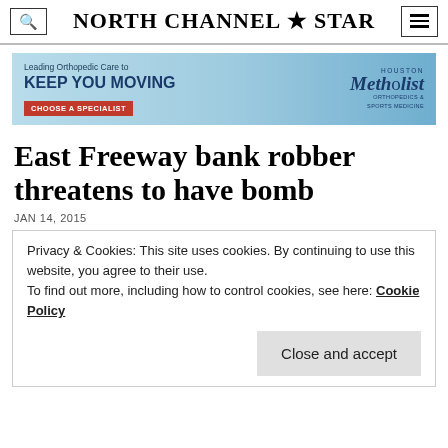North Channel ★ Star
[Figure (illustration): Advertisement banner for Houston Methodist Orthopedics & Sports Medicine: 'Leading Orthopedic Care to KEEP YOU MOVING' with a 'CHOOSE A SPECIALIST' button and Methodist logo, featuring an image of a woman.]
East Freeway bank robber threatens to have bomb
JAN 14, 2015
Privacy & Cookies: This site uses cookies. By continuing to use this website, you agree to their use.
To find out more, including how to control cookies, see here: Cookie Policy
Close and accept